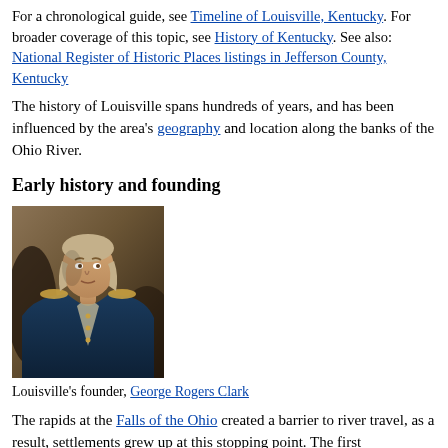For a chronological guide, see Timeline of Louisville, Kentucky. For broader coverage of this topic, see History of Kentucky. See also: National Register of Historic Places listings in Jefferson County, Kentucky
The history of Louisville spans hundreds of years, and has been influenced by the area's geography and location along the banks of the Ohio River.
Early history and founding
[Figure (photo): Portrait painting of George Rogers Clark, founder of Louisville, in military uniform with blue coat and gold epaulettes.]
Louisville's founder, George Rogers Clark
The rapids at the Falls of the Ohio created a barrier to river travel, as a result, settlements grew up at this stopping point. The first